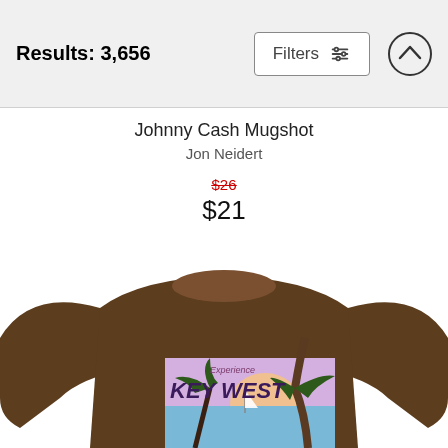Results: 3,656
Johnny Cash Mugshot
Jon Neidert
$26  $21
[Figure (photo): Brown long-sleeve sweatshirt with a 'Experience Key West' tropical vintage travel poster graphic showing palm trees, sunset, and a sailboat.]